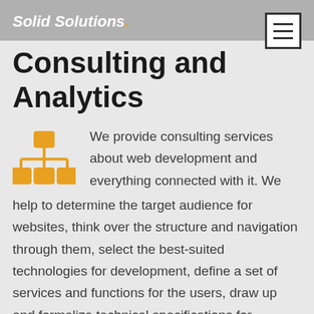Solid Solutions. Consulting and Analytics
Consulting and Analytics
[Figure (illustration): Orange organizational chart / network hierarchy icon with a top node connected to three bottom nodes]
We provide consulting services about web development and everything connected with it. We help to determine the target audience for websites, think over the structure and navigation through them, select the best-suited technologies for development, define a set of services and functions for the users, draw up and formalize technical specifications for development.